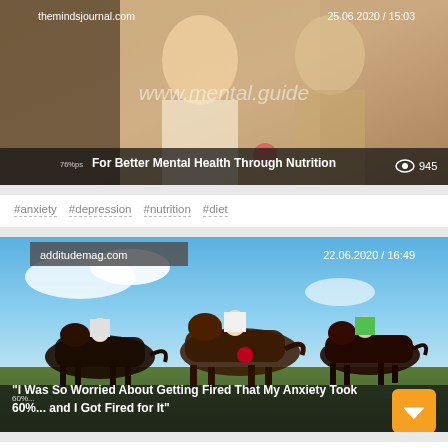[Figure (photo): Couple smiling at each other, article card for themindsjournal.com]
themindsjournal.com
25.06.2020 / 15:03
www.mental.guide
76%ps For Better Mental Health Through Nutrition
945
#anxiety #depression #nutrition #diet
[Figure (photo): Horse racing photo, article card for additudemag.com]
additudemag.com
22.06.2020 / 16:49
"I Was So Worried About Getting Fired That My Anxiety Took 60%... and I Got Fired for It"
#anxiety #self-esteem #focus #guest blog